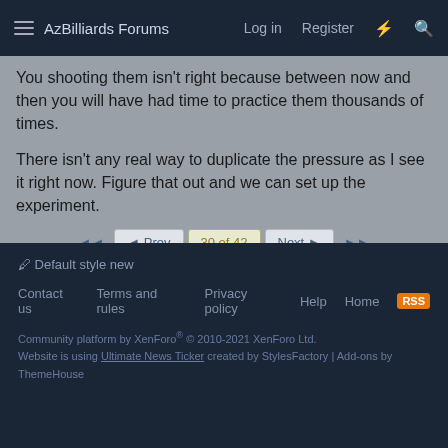AzBilliards Forums  Log in  Register
You shooting them isn't right because between now and then you will have had time to practice them thousands of times.
There isn't any real way to duplicate the pressure as I see it right now. Figure that out and we can set up the experiment.
◄◄  ◄ Prev  30 of 42  Next ►  ►►
You must log in or register to reply here.
Share: [Facebook] [Twitter] [Reddit] [Pinterest] [Tumblr] [WhatsApp] [Email] [Link]
< Main Forum
Default style new
Contact us  Terms and rules  Privacy policy  Help  Home  [RSS]
Community platform by XenForo® © 2010-2021 XenForo Ltd.
Website is using Ultimate News Ticker created by StylesFactory | Add-ons by ThemeHouse